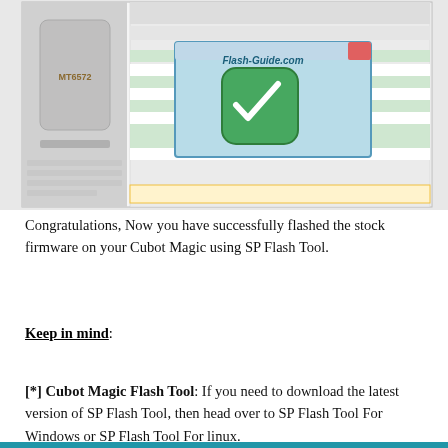[Figure (screenshot): Screenshot of SP Flash Tool flashing firmware on Cubot Magic (MT6572 chipset), showing a Flash-Guide.com watermark overlay with a checkmark icon in the center of the tool window.]
Congratulations, Now you have successfully flashed the stock firmware on your Cubot Magic using SP Flash Tool.
Keep in mind:
[*] Cubot Magic Flash Tool: If you need to download the latest version of SP Flash Tool, then head over to SP Flash Tool For Windows or SP Flash Tool For linux.